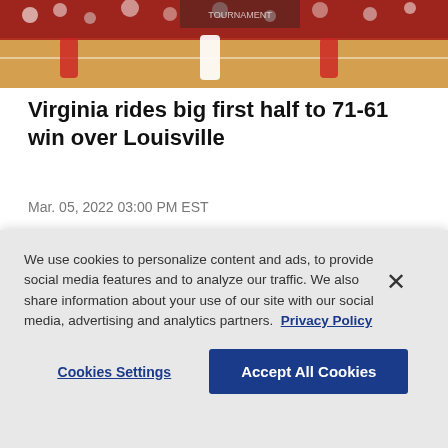[Figure (photo): Basketball game scene with players on court and crowd in background, red and white team colors visible]
Virginia rides big first half to 71-61 win over Louisville
Mar. 05, 2022 03:00 PM EST
[Figure (photo): Basketball player shooting ball overhead in dark arena with crowd in background]
We use cookies to personalize content and ads, to provide social media features and to analyze our traffic. We also share information about your use of our site with our social media, advertising and analytics partners. Privacy Policy
Cookies Settings | Accept All Cookies